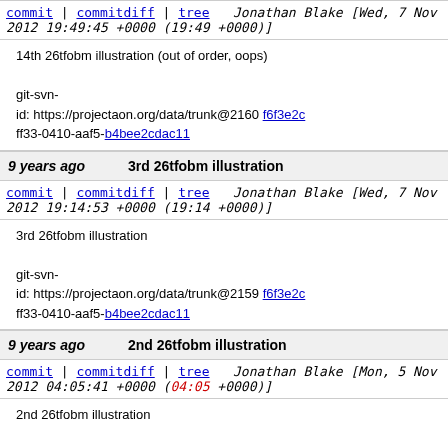commit | commitdiff | tree   Jonathan Blake [Wed, 7 Nov 2012 19:49:45 +0000 (19:49 +0000)]
14th 26tfobm illustration (out of order, oops)

git-svn-id: https://projectaon.org/data/trunk@2160 f6f3e2c... ff33-0410-aaf5-b4bee2cdac11
9 years ago   3rd 26tfobm illustration
commit | commitdiff | tree   Jonathan Blake [Wed, 7 Nov 2012 19:14:53 +0000 (19:14 +0000)]
3rd 26tfobm illustration

git-svn-id: https://projectaon.org/data/trunk@2159 f6f3e2c... ff33-0410-aaf5-b4bee2cdac11
9 years ago   2nd 26tfobm illustration
commit | commitdiff | tree   Jonathan Blake [Mon, 5 Nov 2012 04:05:41 +0000 (04:05 +0000)]
2nd 26tfobm illustration

git-svn-id: https://projectaon.org/data/trunk@2158 f6f3e2c... ff33-0410-aaf5-b4bee2cdac11